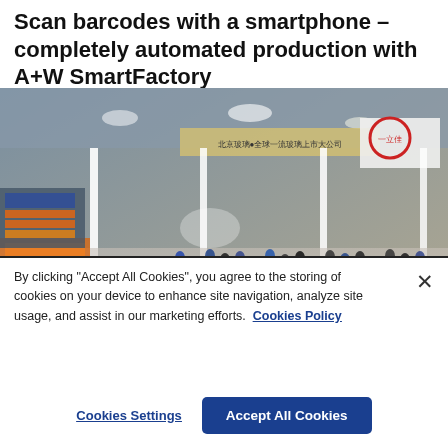Scan barcodes with a smartphone – completely automated production with A+W SmartFactory
[Figure (photo): Aerial view of a busy trade show or exhibition hall floor, with many attendees walking among booths and machinery displays. Visible industrial equipment, white structural columns, and signage including Chinese characters.]
By clicking "Accept All Cookies", you agree to the storing of cookies on your device to enhance site navigation, analyze site usage, and assist in our marketing efforts.  Cookies Policy
Cookies Settings
Accept All Cookies